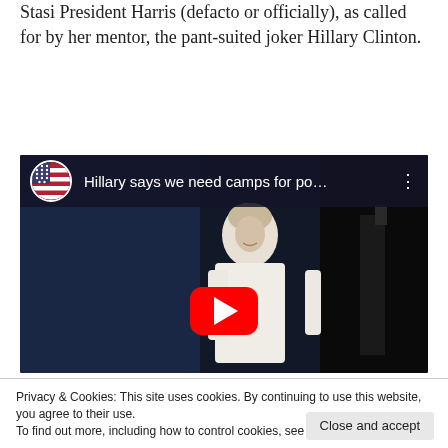Stasi President Harris (defacto or officially), as called for by her mentor, the pant-suited joker Hillary Clinton.
[Figure (screenshot): YouTube video thumbnail showing a woman in a white suit on a dark stage. Video title reads 'Hillary says we need camps for po…'. A Betsy Ross flag circle icon appears top left. Three-dot menu icon top right. Red YouTube play button in center.]
Privacy & Cookies: This site uses cookies. By continuing to use this website, you agree to their use.
To find out more, including how to control cookies, see here: Cookie Policy
Close and accept